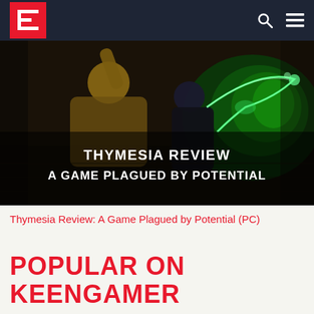KeenGamer navigation bar with logo, search, and menu icons
[Figure (photo): Dark action game screenshot showing two characters fighting, one wielding a glowing green scythe-like weapon. Text overlay reads: THYMESIA REVIEW / A GAME PLAGUED BY POTENTIAL]
Thymesia Review: A Game Plagued by Potential (PC)
POPULAR ON KEENGAMER